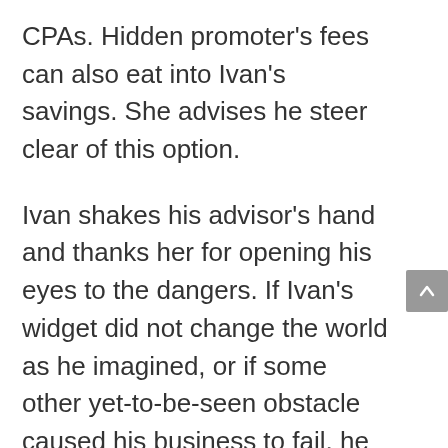CPAs. Hidden promoter's fees can also eat into Ivan's savings. She advises he steer clear of this option.
Ivan shakes his advisor's hand and thanks her for opening his eyes to the dangers. If Ivan's widget did not change the world as he imagined, or if some other yet-to-be-seen obstacle caused his business to fail, he could find himself in serious trouble. A failed ROBS plan could easily leave Ivan with no business, no job, and 20 years of 401(k)